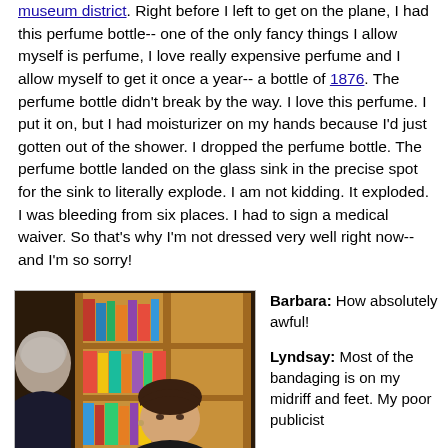museum district. Right before I left to get on the plane, I had this perfume bottle-- one of the only fancy things I allow myself is perfume, I love really expensive perfume and I allow myself to get it once a year-- a bottle of 1876. The perfume bottle didn't break by the way. I love this perfume. I put it on, but I had moisturizer on my hands because I'd just gotten out of the shower. I dropped the perfume bottle. The perfume bottle landed on the glass sink in the precise spot for the sink to literally explode. I am not kidding. It exploded. I was bleeding from six places. I had to sign a medical waiver. So that's why I'm not dressed very well right now-- and I'm so sorry!
[Figure (photo): Two women at a bookstore event, one with short gray hair facing away, another younger woman facing forward, with wooden bookshelves full of colorful books in the background.]
Barbara: How absolutely awful!
Lyndsay: Most of the bandaging is on my midriff and feet. My poor publicist